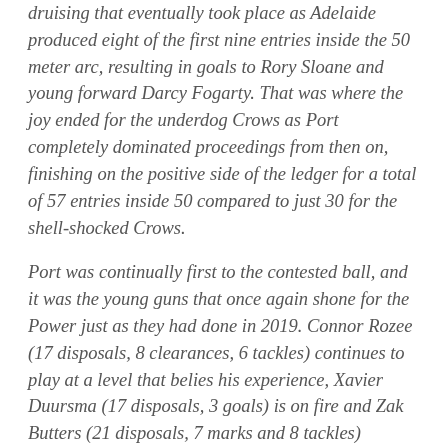druising that eventually took place as Adelaide produced eight of the first nine entries inside the 50 meter arc, resulting in goals to Rory Sloane and young forward Darcy Fogarty. That was where the joy ended for the underdog Crows as Port completely dominated proceedings from then on, finishing on the positive side of the ledger for a total of 57 entries inside 50 compared to just 30 for the shell-shocked Crows.
Port was continually first to the contested ball, and it was the young guns that once again shone for the Power just as they had done in 2019. Connor Rozee (17 disposals, 8 clearances, 6 tackles) continues to play at a level that belies his experience, Xavier Duursma (17 disposals, 3 goals) is on fire and Zak Butters (21 disposals, 7 marks and 8 tackles) completed the domination of the second year Power draftees.
After quarter time when Adelaide trailed by just 13 points, it was one-way traffic with the Power brushing aside the Crows with ease. Half time saw Port's advantage balloon to 32 points as the Crows showed frustration in giving away two late 50 meter penalties that resulted in Port goals.